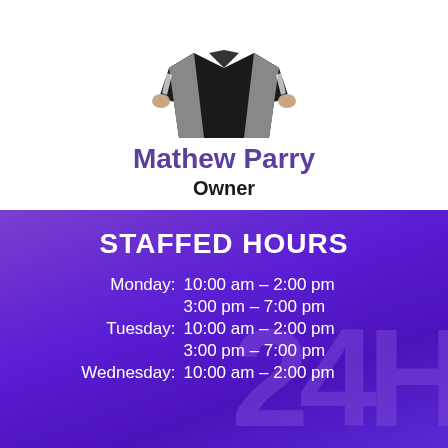[Figure (photo): Person wearing a black referee/sports jersey, cropped to show torso and arms with hands on hips]
Mathew Parry
Owner
STAFFED HOURS
| Day | Hours |
| --- | --- |
| Monday: | 10:00 am – 2:00 pm |
|  | 3:00 pm – 7:00 pm |
| Tuesday: | 10:00 am – 2:00 pm |
|  | 3:00 pm – 7:00 pm |
| Wednesday: | 10:00 am – 2:00 pm |